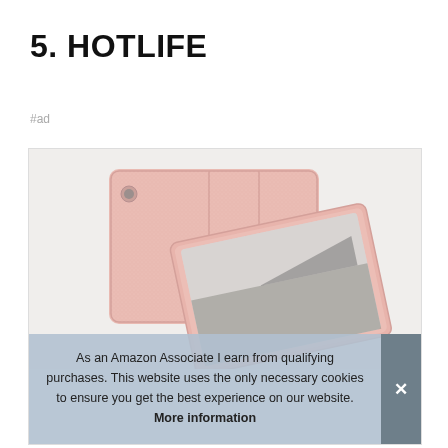5. HOTLIFE
#ad
[Figure (photo): Rose gold iPad case shown from back and front angles, a tri-fold folio style case with glittery texture, displayed with an iPad tablet.]
As an Amazon Associate I earn from qualifying purchases. This website uses the only necessary cookies to ensure you get the best experience on our website. More information